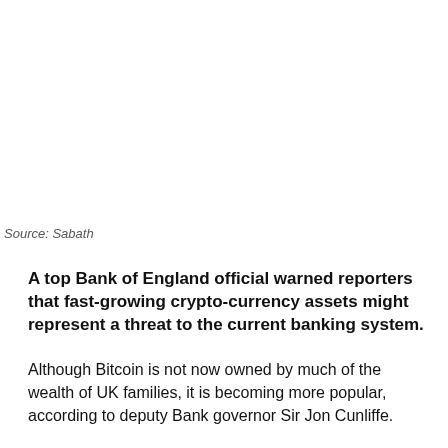Source: Sabath
A top Bank of England official warned reporters that fast-growing crypto-currency assets might represent a threat to the current banking system.
Although Bitcoin is not now owned by much of the wealth of UK families, it is becoming more popular, according to deputy Bank governor Sir Jon Cunliffe.